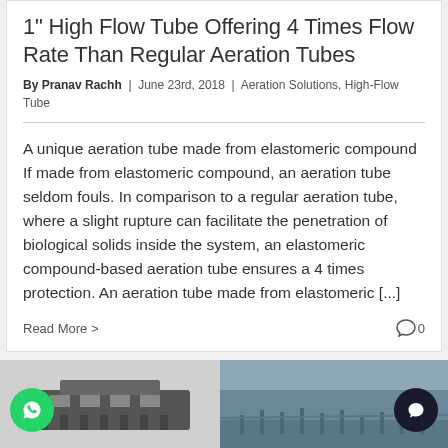1" High Flow Tube Offering 4 Times Flow Rate Than Regular Aeration Tubes
By Pranav Rachh  |  June 23rd, 2018  |  Aeration Solutions, High-Flow Tube
A unique aeration tube made from elastomeric compound If made from elastomeric compound, an aeration tube seldom fouls. In comparison to a regular aeration tube, where a slight rupture can facilitate the penetration of biological solids inside the system, an elastomeric compound-based aeration tube ensures a 4 times protection. An aeration tube made from elastomeric [...]
Read More >
[Figure (photo): Bottom section showing two images side by side: left image shows industrial machinery/equipment in dark tones, right image shows a water treatment facility or reservoir with blue-gray tones]